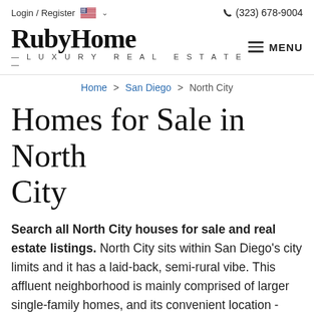Login / Register   (323) 678-9004
RUBYHOME — LUXURY REAL ESTATE —
Home > San Diego > North City
Homes for Sale in North City
Search all North City houses for sale and real estate listings. North City sits within San Diego's city limits and it has a laid-back, semi-rural vibe. This affluent neighborhood is mainly comprised of larger single-family homes, and its convenient location - close to beaches, upscale shopping and dining, and plenty of